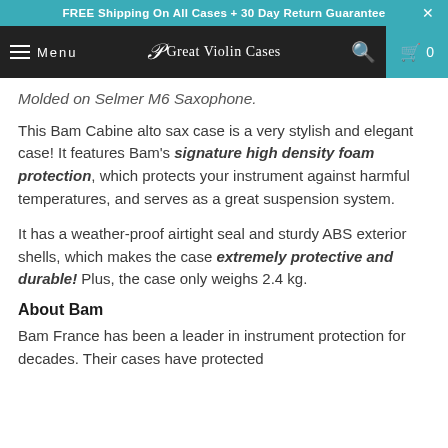FREE Shipping On All Cases + 30 Day Return Guarantee
Menu | Great Violin Cases | 0
Molded on Selmer M6 Saxophone.
This Bam Cabine alto sax case is a very stylish and elegant case! It features Bam's signature high density foam protection, which protects your instrument against harmful temperatures, and serves as a great suspension system.
It has a weather-proof airtight seal and sturdy ABS exterior shells, which makes the case extremely protective and durable! Plus, the case only weighs 2.4 kg.
About Bam
Bam France has been a leader in instrument protection for decades. Their cases have protected